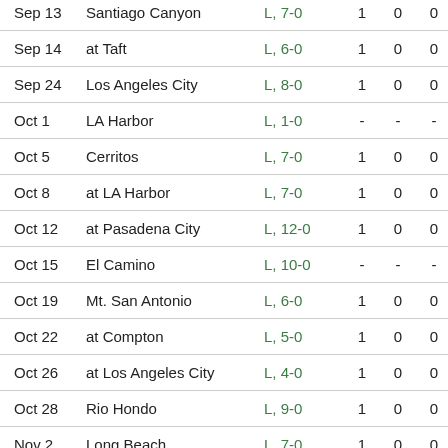| Date | Opponent | Score |  |  |  |
| --- | --- | --- | --- | --- | --- |
| Sep 13 | Santiago Canyon | L, 7-0 | 1 | 0 | 0 |
| Sep 14 | at Taft | L, 6-0 | 1 | 0 | 0 |
| Sep 24 | Los Angeles City | L, 8-0 | 1 | 0 | 0 |
| Oct 1 | LA Harbor | L, 1-0 | - | - | - |
| Oct 5 | Cerritos | L, 7-0 | 1 | 0 | 0 |
| Oct 8 | at LA Harbor | L, 7-0 | 1 | 0 | 0 |
| Oct 12 | at Pasadena City | L, 12-0 | 1 | 0 | 0 |
| Oct 15 | El Camino | L, 10-0 | - | - | - |
| Oct 19 | Mt. San Antonio | L, 6-0 | 1 | 0 | 0 |
| Oct 22 | at Compton | L, 5-0 | 1 | 0 | 0 |
| Oct 26 | at Los Angeles City | L, 4-0 | 1 | 0 | 0 |
| Oct 28 | Rio Hondo | L, 9-0 | 1 | 0 | 0 |
| Nov 2 | Long Beach | L, 7-0 | 1 | 0 | 0 |
| Nov 5 | at Pasadena City | L, 9-0 | 1 | 0 | 0 |